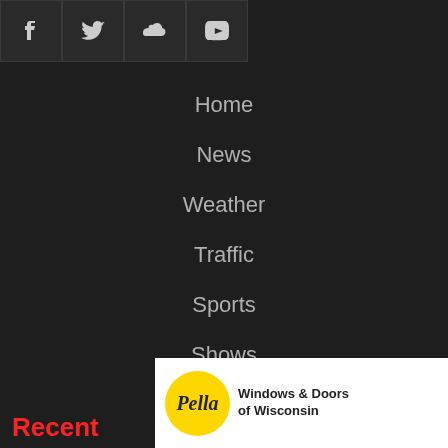[Figure (other): Social media icon buttons: Facebook, Twitter, SoundCloud, YouTube in dark square buttons]
Home
News
Weather
Traffic
Sports
Shows
Podcasts
Features
Careers
Contacts
Recent
[Figure (other): Pella Windows & Doors of Wisconsin advertisement banner. Schedule Today! See our August Specials on Windows and Doors!]